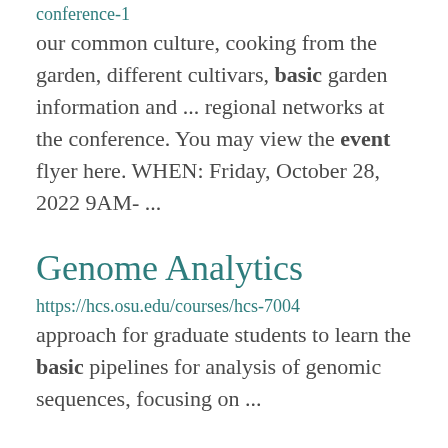conference-1
our common culture, cooking from the garden, different cultivars, basic garden information and ... regional networks at the conference. You may view the event flyer here. WHEN: Friday, October 28, 2022 9AM- ...
Genome Analytics
https://hcs.osu.edu/courses/hcs-7004
approach for graduate students to learn the basic pipelines for analysis of genomic sequences, focusing on ...
Sustainable Agriculture Practical